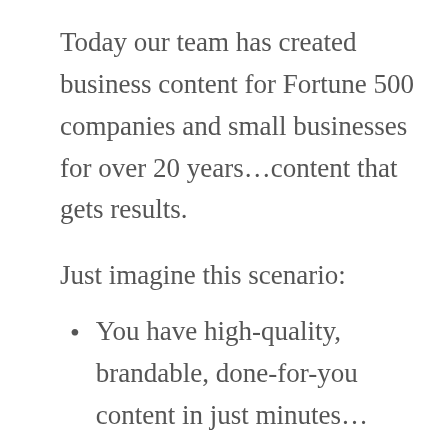Today our team has created business content for Fortune 500 companies and small businesses for over 20 years…content that gets results.
Just imagine this scenario:
You have high-quality, brandable, done-for-you content in just minutes…
You share or sell the